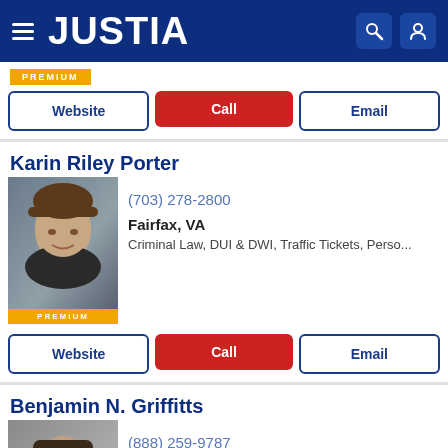JUSTIA
[Figure (other): Premium badge label in gold/yellow]
Website | Call | Email
Karin Riley Porter
[Figure (photo): Headshot of Karin Riley Porter, a woman with brown hair, smiling, wearing a dark jacket. PREMIUM badge at bottom.]
(703) 278-2800
Fairfax, VA
Criminal Law, DUI & DWI, Traffic Tickets, Perso...
Website | Call | Email
Benjamin N. Griffitts
[Figure (photo): Headshot of Benjamin N. Griffitts, a man with dark hair and beard, smiling, wearing a suit.]
(888) 259-9787
Fairfax, VA
Personal Injury, Criminal Law, Estate Planning...